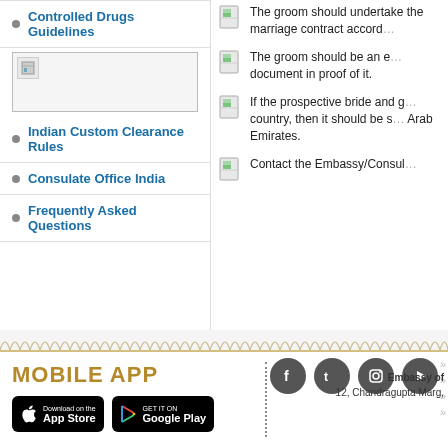Controlled Drugs Guidelines
[Figure (screenshot): Image placeholder with document/flag icon]
Indian Custom Clearance Rules
Consulate Office India
Frequently Asked Questions
The groom should undertake the marriage contract accord…
The groom should be an e… document in proof of it.
If the prospective bride and g… country, then it should be s… Arab Emirates.
Contact the Embassy/Consul…
[Figure (illustration): Decorative wave/arc border strip in gold/tan color]
MOBILE APP
[Figure (illustration): App Store and Google Play download buttons]
[Figure (illustration): Social media icons: Facebook, Twitter, Instagram, YouTube/Play]
Embassy of
12, Chandragupta Marg,